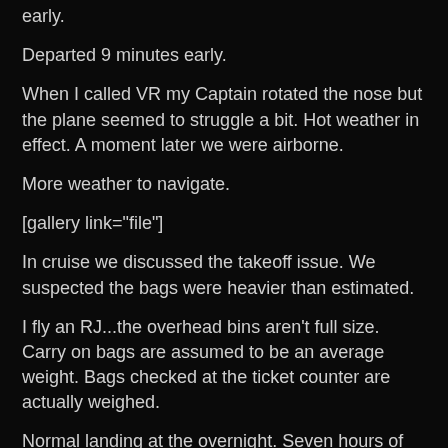early.
Departed 9 minutes early.
When I called VR my Captain rotated the nose but the plane seemed to struggle a bit. Hot weather in effect. A moment later we were airborne.
More weather to navigate.
[gallery link="file"]
In cruise we discussed the takeoff issue. We suspected the bags were heavier than estimated.
I fly an RJ...the overhead bins aren't full size. Carry on bags are assumed to be an average weight. Bags checked at the ticket counter are actually weighed.
Normal landing at the overnight. Seven hours of flying done. Tired.